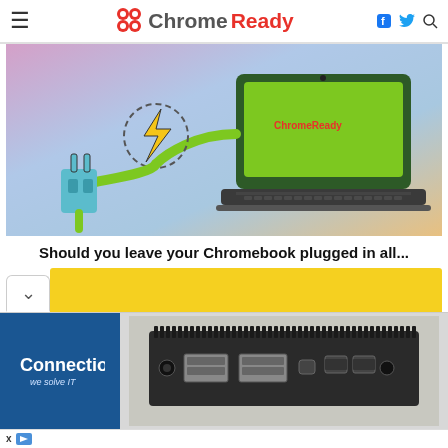ChromeReady
[Figure (illustration): Illustration of a power plug connected via a green cable with a lightning bolt symbol to a Chromebook laptop, on a colorful gradient background (pink, blue, orange). The ChromeReady logo is visible on the laptop screen.]
Should you leave your Chromebook plugged in all...
[Figure (other): Yellow horizontal bar with a white collapse/chevron tab on the left side.]
[Figure (photo): Advertisement banner: left side shows Connection 'we solve IT' logo on blue background; right side shows a photo of a black mini PC/computer with ports on the front panel.]